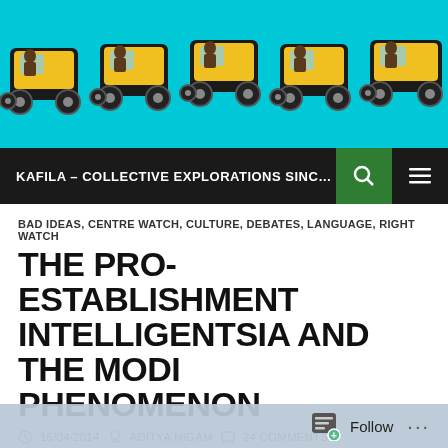[Figure (illustration): Website header banner showing five yellow and black auto-rickshaws (tuk-tuks) in a row against a cyan/turquoise background]
KAFILA – COLLECTIVE EXPLORATIONS SINCE 20...
BAD IDEAS, CENTRE WATCH, CULTURE, DEBATES, LANGUAGE, RIGHT WATCH
THE PRO-ESTABLISHMENT INTELLIGENTSIA AND THE MODI PHENOMENON
16/04/2014   ADITYA NIGAM   24 COMMENTS
For several months, I have been hearing Narendra Modi's